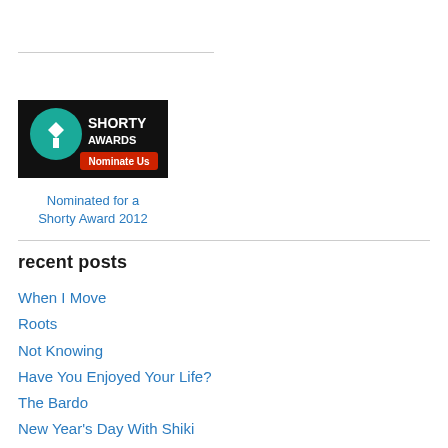[Figure (logo): Shorty Awards logo badge with teal circular logo, white text 'SHORTY AWARDS' and red button 'Nominate Us']
Nominated for a Shorty Award 2012
recent posts
When I Move
Roots
Not Knowing
Have You Enjoyed Your Life?
The Bardo
New Year's Day With Shiki
December Bloom ∞ Looking Forward, Looking Back
Gratitude